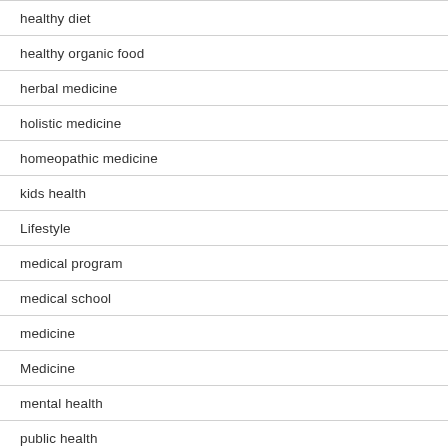healthy diet
healthy organic food
herbal medicine
holistic medicine
homeopathic medicine
kids health
Lifestyle
medical program
medical school
medicine
Medicine
mental health
public health
Uncategorized